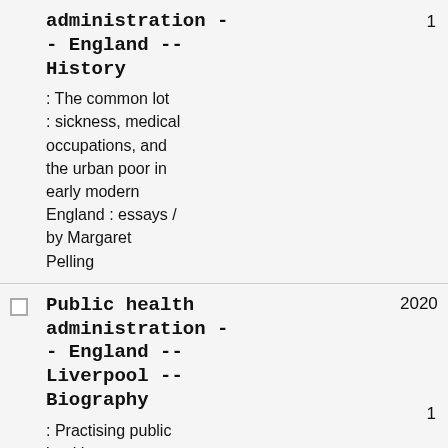administration -- England -- History : The common lot : sickness, medical occupations, and the urban poor in early modern England : essays / by Margaret Pelling [count: 1]
Public health administration -- England -- Liverpool -- Biography 2020 : Practising public health... [count: 1]